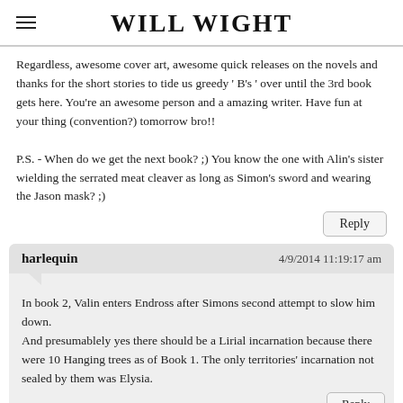WILL WIGHT
Regardless, awesome cover art, awesome quick releases on the novels and thanks for the short stories to tide us greedy ' B's ' over until the 3rd book gets here. You're an awesome person and a amazing writer. Have fun at your thing (convention?) tomorrow bro!!

P.S. - When do we get the next book? ;) You know the one with Alin's sister wielding the serrated meat cleaver as long as Simon's sword and wearing the Jason mask? ;)
Reply
harlequin    4/9/2014 11:19:17 am
In book 2, Valin enters Endross after Simons second attempt to slow him down.
And presumablely yes there should be a Lirial incarnation because there were 10 Hanging trees as of Book 1. The only territories' incarnation not sealed by them was Elysia.